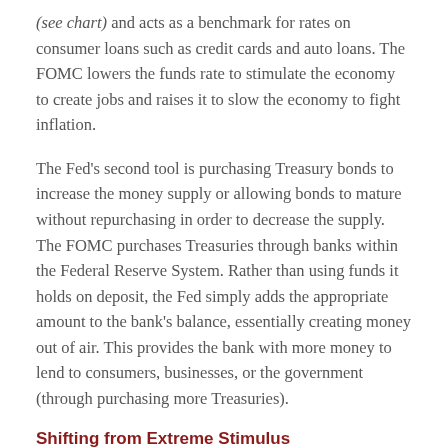(see chart) and acts as a benchmark for rates on consumer loans such as credit cards and auto loans. The FOMC lowers the funds rate to stimulate the economy to create jobs and raises it to slow the economy to fight inflation.
The Fed's second tool is purchasing Treasury bonds to increase the money supply or allowing bonds to mature without repurchasing in order to decrease the supply. The FOMC purchases Treasuries through banks within the Federal Reserve System. Rather than using funds it holds on deposit, the Fed simply adds the appropriate amount to the bank's balance, essentially creating money out of air. This provides the bank with more money to lend to consumers, businesses, or the government (through purchasing more Treasuries).
Shifting from Extreme Stimulus
When the economy shut down in March 2020 in